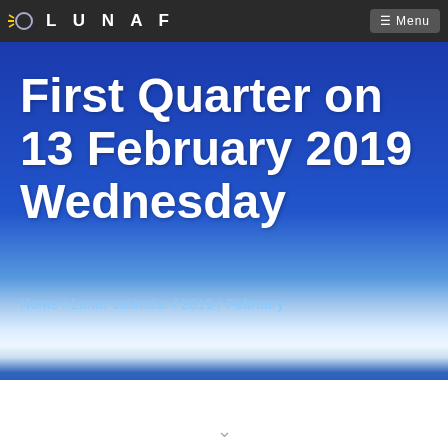LUNAF  ≡ Menu
First Quarter on 13 February 2019 Wednesday
Home / Lunar calendar / 2019 / February